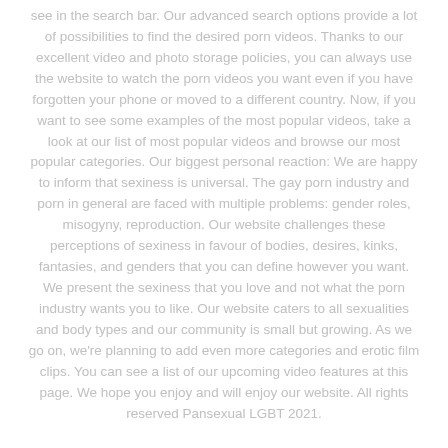see in the search bar. Our advanced search options provide a lot of possibilities to find the desired porn videos. Thanks to our excellent video and photo storage policies, you can always use the website to watch the porn videos you want even if you have forgotten your phone or moved to a different country. Now, if you want to see some examples of the most popular videos, take a look at our list of most popular videos and browse our most popular categories. Our biggest personal reaction: We are happy to inform that sexiness is universal. The gay porn industry and porn in general are faced with multiple problems: gender roles, misogyny, reproduction. Our website challenges these perceptions of sexiness in favour of bodies, desires, kinks, fantasies, and genders that you can define however you want. We present the sexiness that you love and not what the porn industry wants you to like. Our website caters to all sexualities and body types and our community is small but growing. As we go on, we're planning to add even more categories and erotic film clips. You can see a list of our upcoming video features at this page. We hope you enjoy and will enjoy our website. All rights reserved Pansexual LGBT 2021.